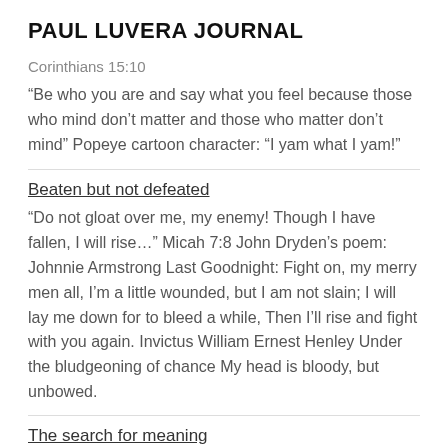PAUL LUVERA JOURNAL
Corinthians 15:10
“Be who you are and say what you feel because those who mind don’t matter and those who matter don’t mind” Popeye cartoon character: “I yam what I yam!”
Beaten but not defeated
“Do not gloat over me, my enemy! Though I have fallen, I will rise…” Micah 7:8 John Dryden’s poem: Johnnie Armstrong Last Goodnight: Fight on, my merry men all, I’m a little wounded, but I am not slain; I will lay me down for to bleed a while, Then I’ll rise and fight with you again. Invictus William Ernest Henley Under the bludgeoning of chance My head is bloody, but unbowed.
The search for meaning